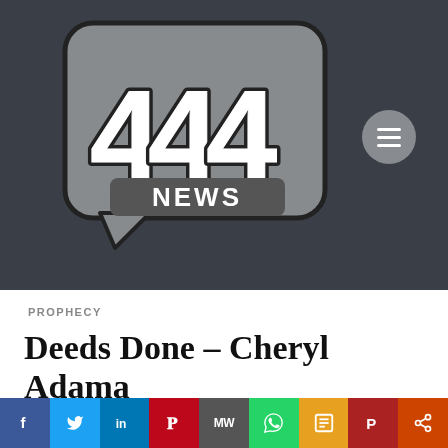[Figure (logo): 444 NEWS logo — grey speech-bubble shape with bold white '444' text and 'NEWS' label, on dark charcoal background with a circular menu button]
PROPHECY
Deeds Done – Cheryl Adama
[Figure (infographic): Social share bar with icons: Facebook (f), Twitter (bird), LinkedIn (in), Pinterest (P), MeWe (MW), WhatsApp (phone), Print (printer), Parler (P), Share (<)]